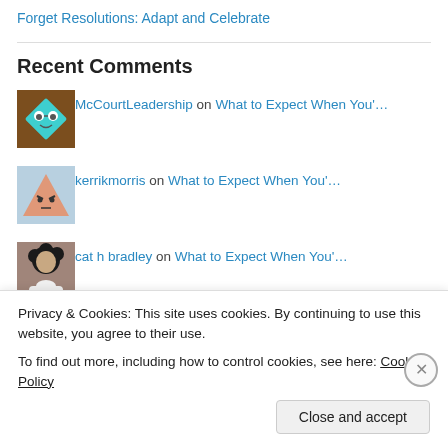Forget Resolutions: Adapt and Celebrate
Recent Comments
McCourtLeadership on What to Expect When You'…
kerrikmorris on What to Expect When You'…
cat h bradley on What to Expect When You'…
Carolyn L. Nguyen on Hope for a Reformed Killer…
Privacy & Cookies: This site uses cookies. By continuing to use this website, you agree to their use. To find out more, including how to control cookies, see here: Cookie Policy
Close and accept